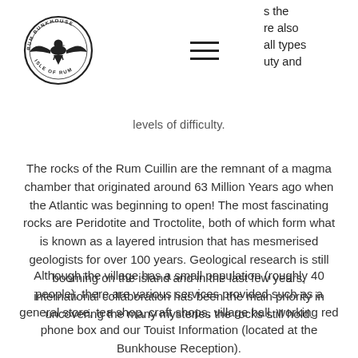[Figure (logo): Rum Bunkhouse circular logo with eagle/bird silhouette and text around the border]
s the re also all types uty and
levels of difficulty.
The rocks of the Rum Cuillin are the remnant of a magma chamber that originated around 63 Million Years ago when the Atlantic was beginning to open! The most fascinating rocks are Peridotite and Troctolite, both of which form what is known as a layered intrusion that has mesmerised geologists for over 100 years. Geological research is still booming on the island and in the last few years, international collaboration has been the main priority in uncovering the many mysteries the rocks still hold.
Although the village has a small population (roughly 40 people), there are various services provided such as a general store, tea shop, craft shops,  village hall, working red phone box and our Touist Information (located at the Bunkhouse Reception).
In the winter of 2021, we ran a volunteer